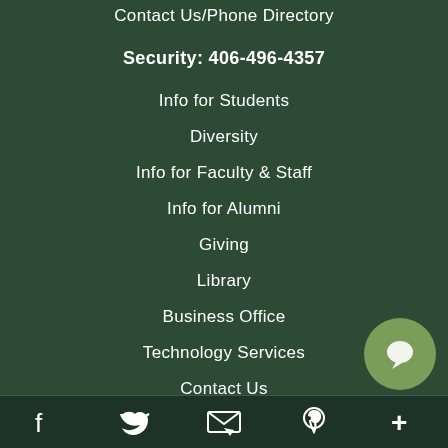Contact Us/Phone Directory
Security: 406-496-4357
Info for Students
Diversity
Info for Faculty & Staff
Info for Alumni
Giving
Library
Business Office
Technology Services
Contact Us
Transcripts
Social media icons: Facebook, Twitter, Email/Newsletter, Pinterest, More (+)